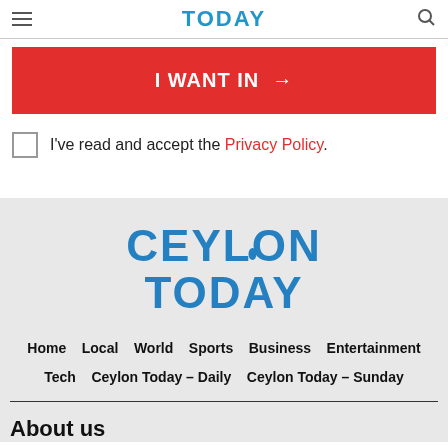TODAY
I WANT IN →
I've read and accept the Privacy Policy.
[Figure (logo): Ceylon Today logo in blue bold text, two lines: CEYLON TODAY]
Home  Local  World  Sports  Business  Entertainment  Tech  Ceylon Today – Daily  Ceylon Today – Sunday
About us